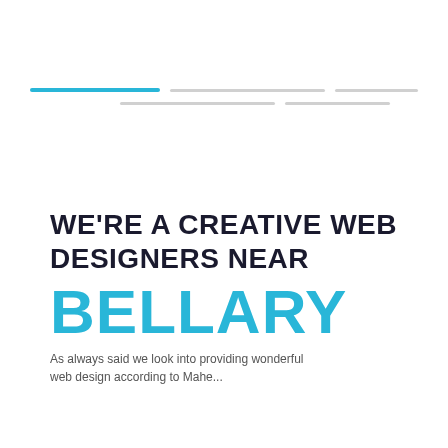[Figure (other): Decorative horizontal lines — one blue and several gray — arranged in two rows, resembling a loading/placeholder graphic]
WE'RE A CREATIVE WEB DESIGNERS NEAR BELLARY
As always said we look into providing wonderful web design according to Mahe...